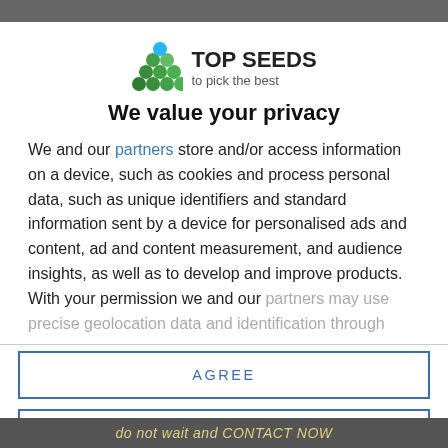[Figure (logo): Top Seeds logo with green seed balls arranged in a triangle and the text TOP SEEDS / to pick the best]
We value your privacy
We and our partners store and/or access information on a device, such as cookies and process personal data, such as unique identifiers and standard information sent by a device for personalised ads and content, ad and content measurement, and audience insights, as well as to develop and improve products. With your permission we and our partners may use precise geolocation data and identification through
AGREE
MORE OPTIONS
DISAGREE
do not wait and CONTACT NOW